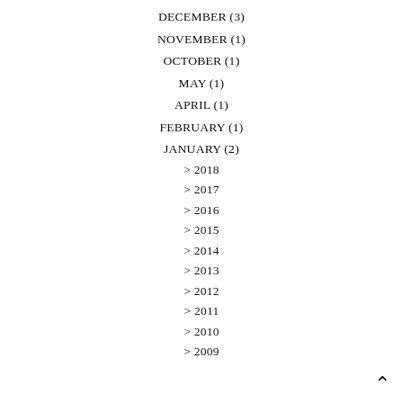DECEMBER (3)
NOVEMBER (1)
OCTOBER (1)
MAY (1)
APRIL (1)
FEBRUARY (1)
JANUARY (2)
> 2018
> 2017
> 2016
> 2015
> 2014
> 2013
> 2012
> 2011
> 2010
> 2009